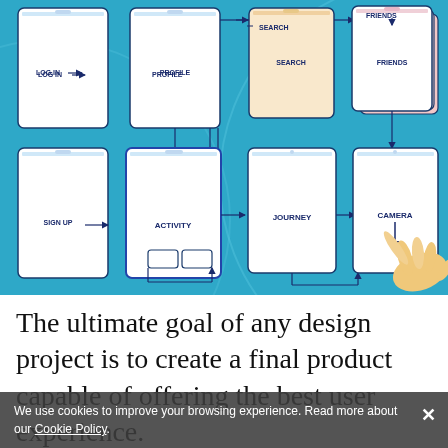[Figure (flowchart): UX/UI flowchart diagram showing interconnected mobile app screens labeled: LOG IN, PROFILE, SEARCH, FRIENDS, SIGN UP, ACTIVITY, JOURNEY, CAMERA. Arrows connect the screens on a blue background. A hand pointing at the CAMERA screen is illustrated in the bottom right.]
The ultimate goal of any design project is to create a final product capable of offering the best user experience.
We use cookies to improve your browsing experience. Read more about our Cookie Policy.